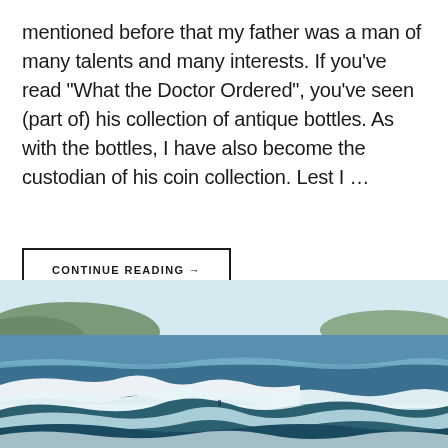mentioned before that my father was a man of many talents and many interests. If you've read "What the Doctor Ordered", you've seen (part of) his collection of antique bottles. As with the bottles, I have also become the custodian of his coin collection. Lest I …
CONTINUE READING →
[Figure (photo): Coastal ocean scene with waves breaking near a shoreline, blue water, white sea foam, and a hillside town visible in the background under a light blue sky.]